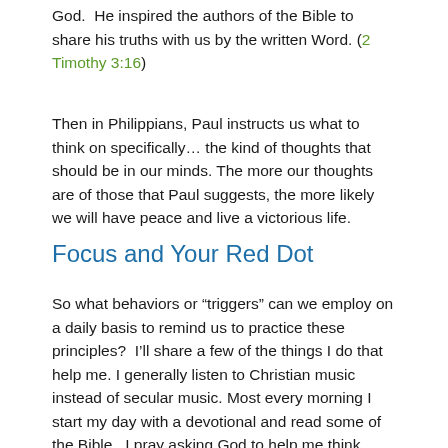God.  He inspired the authors of the Bible to share his truths with us by the written Word. (2 Timothy 3:16)
Then in Philippians, Paul instructs us what to think on specifically… the kind of thoughts that should be in our minds. The more our thoughts are of those that Paul suggests, the more likely we will have peace and live a victorious life.
Focus and Your Red Dot
So what behaviors or “triggers” can we employ on a daily basis to remind us to practice these principles?  I’ll share a few of the things I do that help me. I generally listen to Christian music instead of secular music. Most every morning I start my day with a devotional and read some of the Bible.  I pray asking God to help me think about things that will please him and that are praiseworthy. I read books about the application of the Christian faith.  Most days of the week I seek out scriptures that are conducive to personalizing in the form of daily positive affirmations.  (Read a blog post about the value of speaking